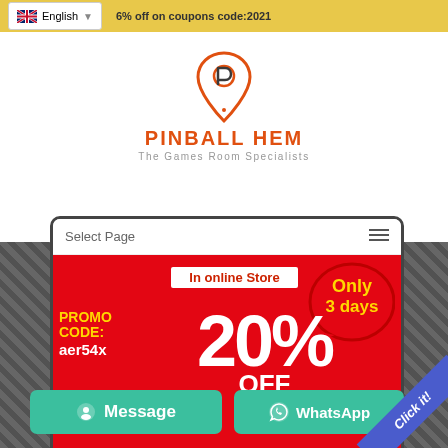English | 6% off on coupons code:2021
[Figure (logo): Pinball Hem logo with stylized P icon, brand name PINBALL HEM in orange, tagline The Games Room Specialists]
Select Page
[Figure (infographic): Promotional popup banner on red background: In online Store | PROMO CODE: aer54x | 20% OFF | Only 3 days | ALL Regular Price Purchases]
Message
WhatsApp